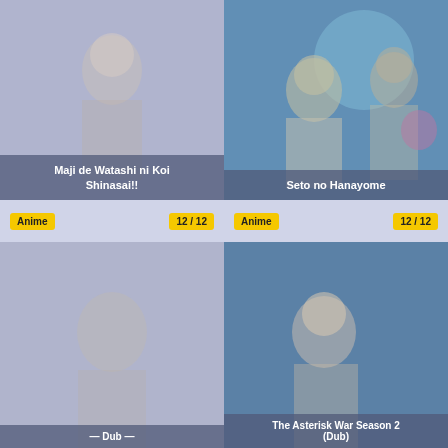[Figure (illustration): Anime card image for Maji de Watashi ni Koi Shinasai!! with title overlay bar at bottom]
[Figure (illustration): Anime card image for Seto no Hanayome showing anime characters in colorful scene with title overlay bar at bottom]
Anime  12 / 12
Anime  12 / 12
[Figure (illustration): Anime card image for bottom-left title (partially visible, cut off)]
[Figure (illustration): Anime card for The Asterisk War Season 2 (Dub) with title overlay bar]